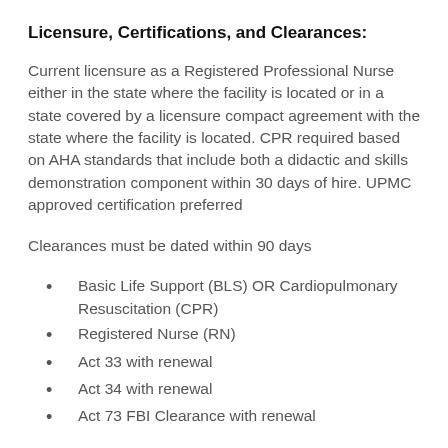Licensure, Certifications, and Clearances:
Current licensure as a Registered Professional Nurse either in the state where the facility is located or in a state covered by a licensure compact agreement with the state where the facility is located. CPR required based on AHA standards that include both a didactic and skills demonstration component within 30 days of hire. UPMC approved certification preferred
Clearances must be dated within 90 days
Basic Life Support (BLS) OR Cardiopulmonary Resuscitation (CPR)
Registered Nurse (RN)
Act 33 with renewal
Act 34 with renewal
Act 73 FBI Clearance with renewal